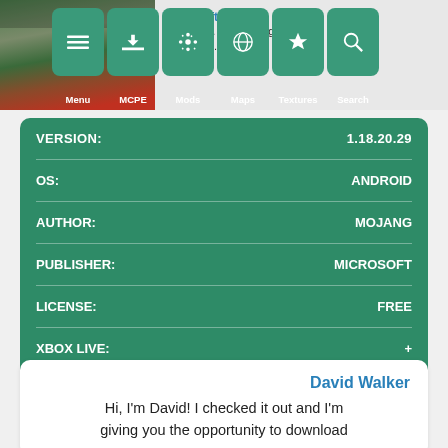[Figure (screenshot): Navigation bar with thumbnail image of Furnicraft 3D mod and menu icons for Menu, MCPE, Mods, Maps, Textures, Search]
| KEY | VALUE |
| --- | --- |
| VERSION: | 1.18.20.29 |
| OS: | ANDROID |
| AUTHOR: | MOJANG |
| PUBLISHER: | MICROSOFT |
| LICENSE: | FREE |
| XBOX LIVE: | + |
| FILE: | APK |
David Walker
Hi, I'm David! I checked it out and I'm giving you the opportunity to download